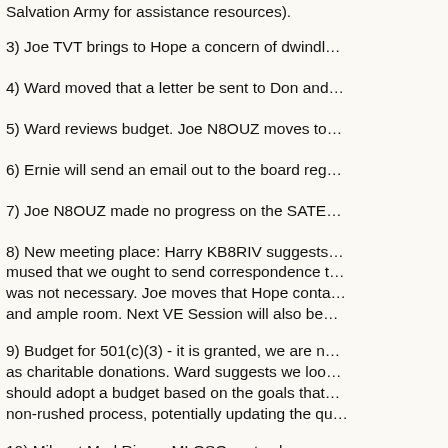Salvation Army for assistance resources).
3) Joe TVT brings to Hope a concern of dwindl...
4) Ward moved that a letter be sent to Don and...
5) Ward reviews budget. Joe N8OUZ moves to...
6) Ernie will send an email out to the board reg...
7) Joe N8OUZ made no progress on the SATE...
8) New meeting place: Harry KB8RIV suggests... mused that we ought to send correspondence t... was not necessary. Joe moves that Hope conta... and ample room. Next VE Session will also be...
9) Budget for 501(c)(3) - it is granted, we are n... as charitable donations. Ward suggests we loo... should adopt a budget based on the goals that... non-rushed process, potentially updating the qu...
10) Mike at Mad River - MI QSO party plaque...
11) Bill Shenk W8PIT turns 88 next week. Emb...
12) Kudos to Chris for the presentation. Some...